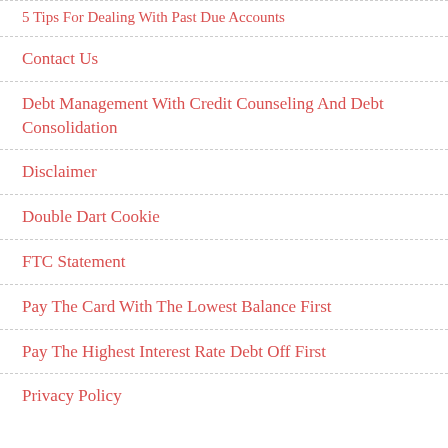5 Tips For Dealing With Past Due Accounts
Contact Us
Debt Management With Credit Counseling And Debt Consolidation
Disclaimer
Double Dart Cookie
FTC Statement
Pay The Card With The Lowest Balance First
Pay The Highest Interest Rate Debt Off First
Privacy Policy